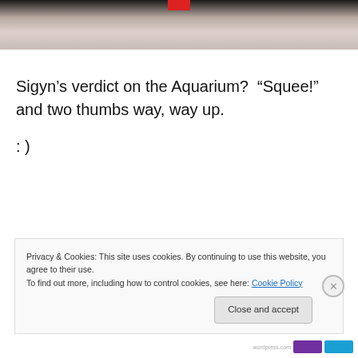[Figure (photo): Partial photo showing white surface with a red bar/clip at top, dark background above]
Sigyn’s verdict on the Aquarium?  “Squee!” and two thumbs way, way up.
: )
Privacy & Cookies: This site uses cookies. By continuing to use this website, you agree to their use.
To find out more, including how to control cookies, see here: Cookie Policy
Close and accept